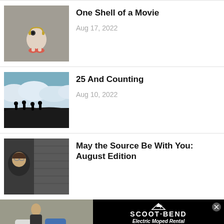[Figure (photo): Small toy figurine with headphones on pavement]
One Shell of a Movie
Aug 17, 2022
[Figure (photo): Silhouettes of people standing on ridge above clouds]
25 And Counting
Aug 10, 2022
[Figure (photo): Person with glasses near brick wall]
May the Source Be With You: August Edition
[Figure (photo): Scoot Bend Electric Moped Rental advertisement showing mopeds]
SCOOT·BEND Electric Moped Rental 541-797-9017 info@scootbend.com scootbend.com